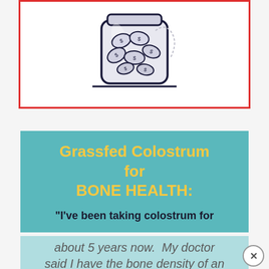[Figure (illustration): Hand-drawn sketch of a glass jar filled with coins (dollar sign coins), on a white background inside a red border rectangle]
Grassfed Colostrum for BONE HEALTH:
"I've been taking colostrum for about 5 years now.  My doctor said I have the bone density of an